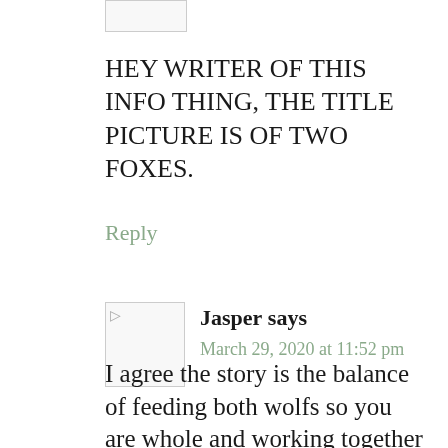[Figure (other): User avatar placeholder image (top, partially visible)]
HEY WRITER OF THIS INFO THING, THE TITLE PICTURE IS OF TWO FOXES.
Reply
[Figure (other): Jasper user avatar placeholder image]
Jasper says
March 29, 2020 at 11:52 pm
I agree the story is the balance of feeding both wolfs so you are whole and working together you